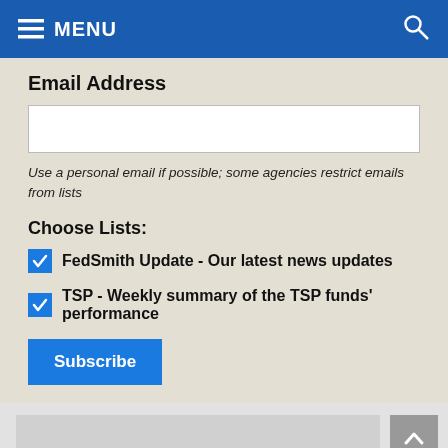MENU
Email Address
Use a personal email if possible; some agencies restrict emails from lists
Choose Lists:
FedSmith Update - Our latest news updates
TSP - Weekly summary of the TSP funds' performance
Subscribe